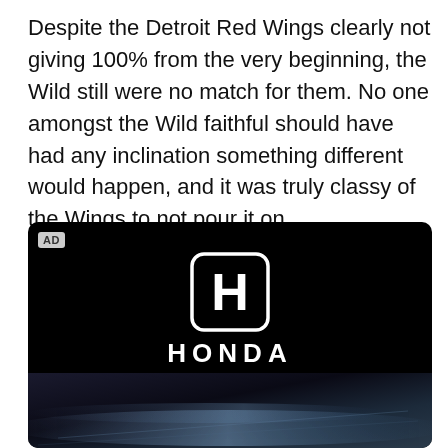Despite the Detroit Red Wings clearly not giving 100% from the very beginning, the Wild still were no match for them. No one amongst the Wild faithful should have had any inclination something different would happen, and it was truly classy of the Wings to not pour it on.
[Figure (advertisement): Honda HR-V advertisement on black background. Features Honda logo (H badge), 'HONDA' wordmark, 'All-New' text with decorative lines, 'HR-V' large bold text, 'Powered by determination.' tagline, and a partially visible car at the bottom with light streaks.]